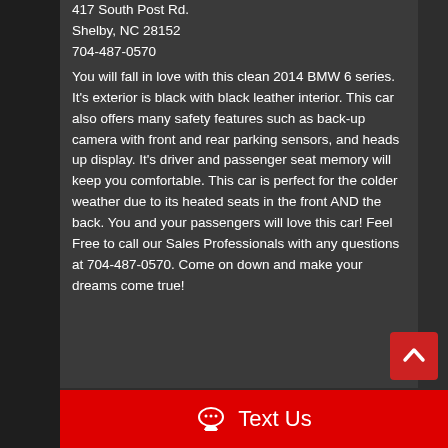Susan Campe
417 South Post Rd.
Shelby, NC 28152
704-487-0570
You will fall in love with this clean 2014 BMW 6 series. It's exterior is black with black leather interior. This car also offers many safety features such as back-up camera with front and rear parking sensors, and heads up display. It's driver and passenger seat memory will keep you comfortable. This car is perfect for the colder weather due to its heated seats in the front AND the back. You and your passengers will love this car! Feel Free to call our Sales Professionals with any questions at 704-487-0570. Come on down and make your dreams come true!
Text Us